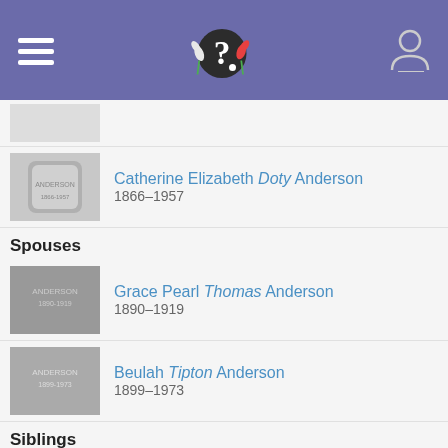Genealogy app header with logo
Catherine Elizabeth Doty Anderson 1866–1957
Spouses
Grace Pearl Thomas Anderson 1890–1919
Beulah Tipton Anderson 1899–1973
Siblings
John LeRoy Anderson 1884–1952
Clara Susan Anderson Scott 1886–1970